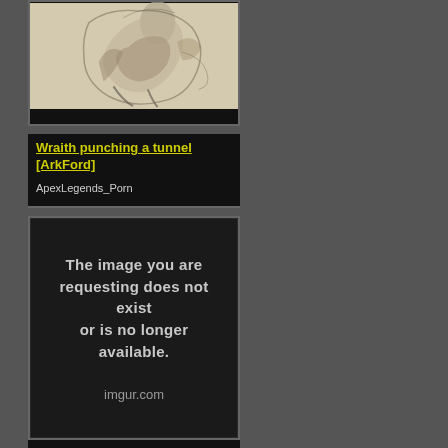[Figure (illustration): Sketch/illustration of a figure (Wraith) in sepia/monochrome tones]
Wraith punching a tunnel [ArkFord]
ApexLegends_Porn
[Figure (screenshot): Imgur error image with text: The image you are requesting does not exist or is no longer available. imgur.com]
A lil cumtin i cummed up!!
ApexLegends_Porn